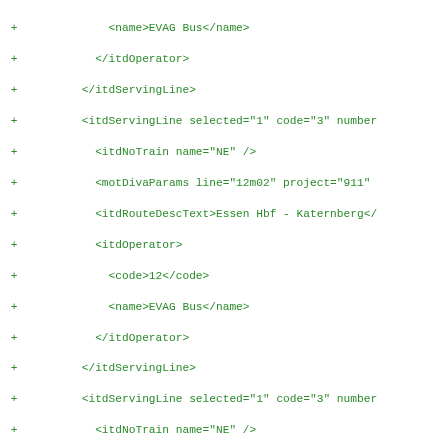XML diff code snippet showing added lines with + markers containing itdServingLine, itdOperator, itdNoTrain, motDivaParams, and itdRouteDescText elements for EVAG Bus routes in Essen